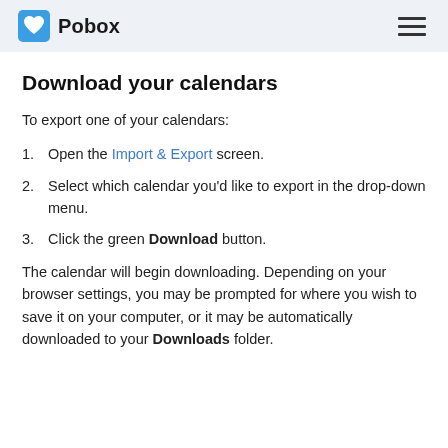Pobox
Download your calendars
To export one of your calendars:
Open the Import & Export screen.
Select which calendar you'd like to export in the drop-down menu.
Click the green Download button.
The calendar will begin downloading. Depending on your browser settings, you may be prompted for where you wish to save it on your computer, or it may be automatically downloaded to your Downloads folder.